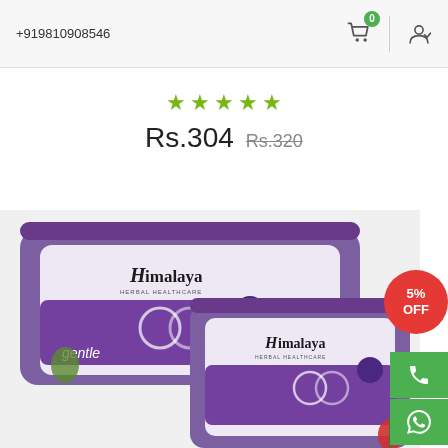+919810908546
★★★★★
Rs.304  Rs.320
[Figure (photo): Two packs of Himalaya Herbal Healthcare gentle baby wipes in purple and white packaging, partially visible, stacked/overlapping.]
5% OFF
Phone icon
WhatsApp icon